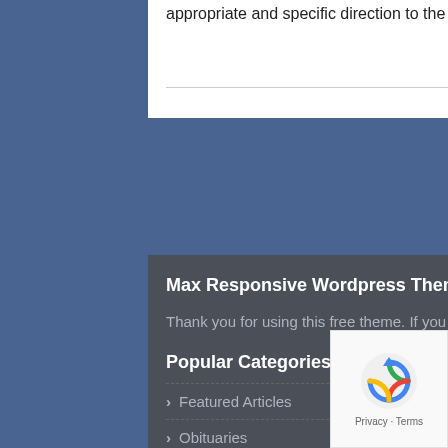appropriate and specific direction to the original content.
Max Responsive Wordpress Themse
Thank you for using this free theme. If you have questions, please feel free contact.
Popular Categories
Featured Articles
Obituaries
The Weekly Paper
Events
News
Recent Posts